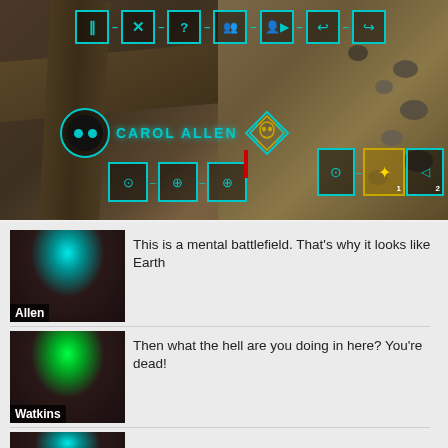[Figure (screenshot): XCOM 2 game screenshot showing tactical battle UI with cyan/teal HUD elements including pause, close, help, unit management buttons, a character named CAROL ALLEN with alien/psionic indicator diamond, action buttons, and right-side action icons numbered 1 and 2. Isometric view of a military/urban environment.]
[Figure (screenshot): Chat dialogue panel showing character Allen (teal hair) with text: 'This is a mental battlefield. That's why it looks like Earth']
[Figure (screenshot): Chat dialogue panel showing character Watkins (green hair) with text: 'Then what the hell are you doing in here? You're dead!']
[Figure (screenshot): Third chat dialogue entry showing character Allen again (teal hair), partially visible at bottom of page.]